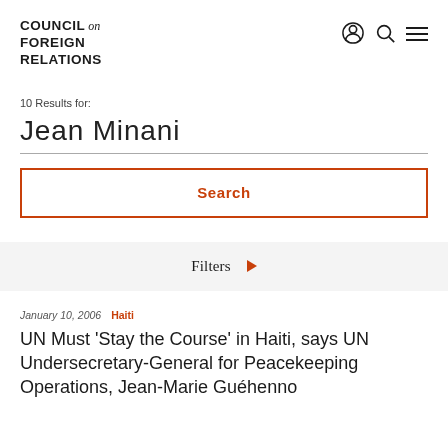COUNCIL on FOREIGN RELATIONS
10 Results for:
Jean Minani
Search
Filters
January 10, 2006  Haiti
UN Must 'Stay the Course' in Haiti, says UN Undersecretary-General for Peacekeeping Operations, Jean-Marie Guéhenno